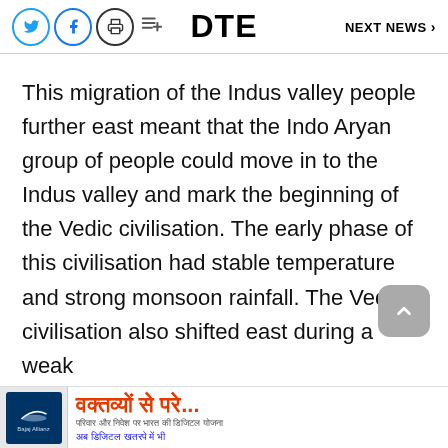DTE   NEXT NEWS >
This migration of the Indus valley people further east meant that the Indo Aryan group of people could move in to the Indus valley and mark the beginning of the Vedic civilisation. The early phase of this civilisation had stable temperature and strong monsoon rainfall. The Vedic civilisation also shifted east during a weak mo...
[Figure (illustration): Advertisement banner with Hindi text reading 'वक्तव्यों से परे...' with a Bajaj Allianz logo and Hindi subtext]